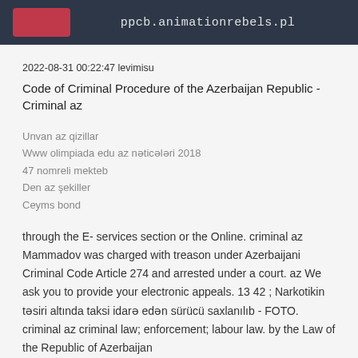ppcb.animationrebels.pl
2022-08-31 00:22:47 levimisu
Code of Criminal Procedure of the Azerbaijan Republic - Criminal az
Unvan az qizillar
Www olimpiada edu az nəticələri 2018
47 nomreli mekteb
Den az şekiller
Ceyms bond
through the E- services section or the Online. criminal az Mammadov was charged with treason under Azerbaijani Criminal Code Article 274 and arrested under a court. az We ask you to provide your electronic appeals. 13 42 ; Narkotikin təsiri altında taksi idarə edən sürücü saxlanılıb - FOTO. criminal az criminal law; enforcement; labour law. by the Law of the Republic of Azerbaijan